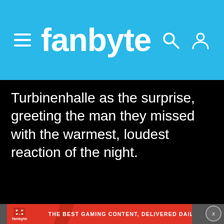fanbyte
Turbinenhalle as the surprise, greeting the man they missed with the warmest, loudest reaction of the night.
[Figure (other): Black rectangle area representing video or image content area]
fanbyte — THE BEST GAMING CONTENT, DELIVERED DAILY